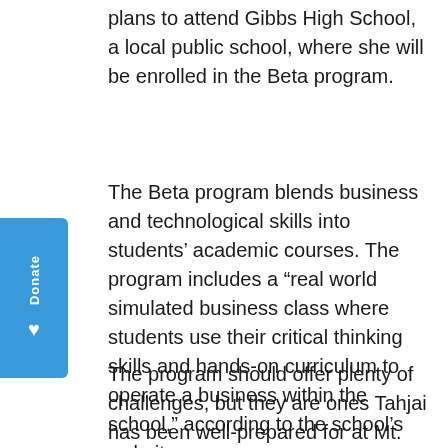plans to attend Gibbs High School, a local public school, where she will be enrolled in the Beta program.
The Beta program blends business and technological skills into students' academic courses. The program includes a “real world simulated business class where students use their critical thinking skills and hands-on curriculum to operate a business within the school,” according to the school’s website.
The program should offer plenty of challenges, but they are ones Tahjai has been well-prepared for at Mt. Moriah. In fact, the program should be an especially good fit for...